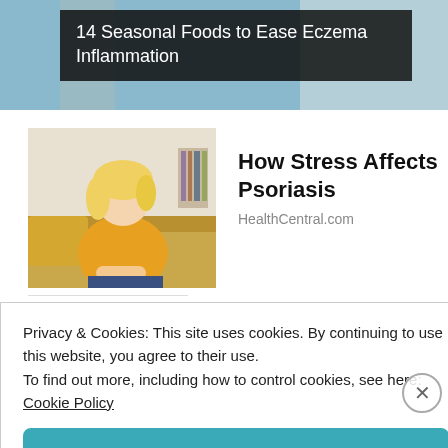[Figure (photo): Top banner with article image — blue/grey background with overlay text reading '14 Seasonal Foods to Ease Eczema Inflammation']
14 Seasonal Foods to Ease Eczema Inflammation
[Figure (photo): Woman in yellow sweater examining her forearm, sitting on couch — thumbnail image for 'How Stress Affects Psoriasis']
How Stress Affects Psoriasis
HealthCentral.com
Privacy & Cookies: This site uses cookies. By continuing to use this website, you agree to their use.
To find out more, including how to control cookies, see here:
Cookie Policy
Close and accept